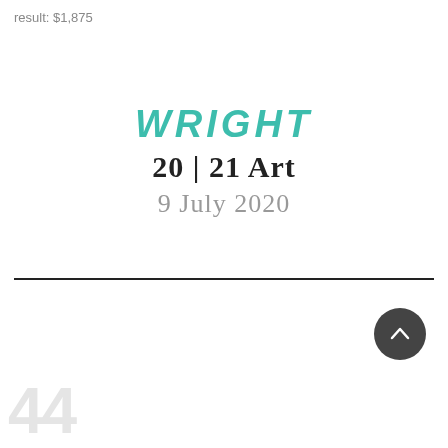result: $1,875
WRIGHT
20 | 21 Art
9 July 2020